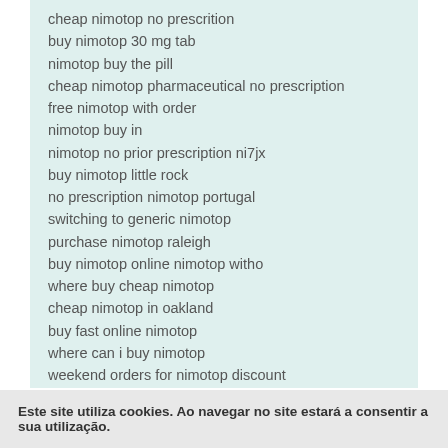cheap nimotop no prescrition
buy nimotop 30 mg tab
nimotop buy the pill
cheap nimotop pharmaceutical no prescription
free nimotop with order
nimotop buy in
nimotop no prior prescription ni7jx
buy nimotop little rock
no prescription nimotop portugal
switching to generic nimotop
purchase nimotop raleigh
buy nimotop online nimotop witho
where buy cheap nimotop
cheap nimotop in oakland
buy fast online nimotop
where can i buy nimotop
weekend orders for nimotop discount
buy nimotop mastercard maadh
nimotop overnight cash on delivery
want to buy nimotop
generic nimotop 25mg buy
fedex nimotop cod
Este site utiliza cookies. Ao navegar no site estará a consentir a sua utilização.